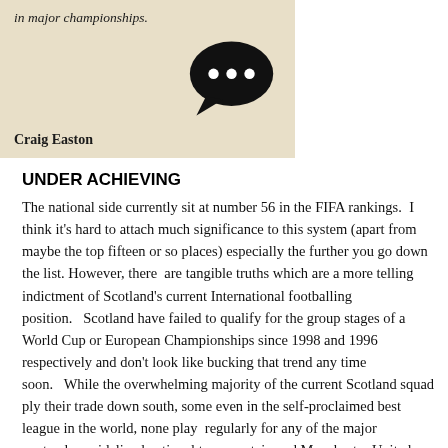[Figure (illustration): Book or article cover image with beige/tan background. Shows text 'in major championships.' and author name 'Craig Easton' in bold, with a large black speech bubble icon containing three white dots.]
UNDER ACHIEVING
The national side currently sit at number 56 in the FIFA rankings.  I think it's hard to attach much significance to this system (apart from maybe the top fifteen or so places) especially the further you go down the list. However, there  are tangible truths which are a more telling indictment of Scotland's current International footballing position.   Scotland have failed to qualify for the group stages of a World Cup or European Championships since 1998 and 1996 respectively and don't look like bucking that trend any time soon.   While the overwhelming majority of the current Scotland squad ply their trade down south, some even in the self-proclaimed best league in the world, none play  regularly for any of the major contenders; sidelined national team captain and Manchester United midfielder, Darren Fletcher the only exception.
The Scottish FA has put together a new Player Performance Strategy which outlines how they plan to develop the best young talent from the ages of 12 to 16.  But what happens after that when